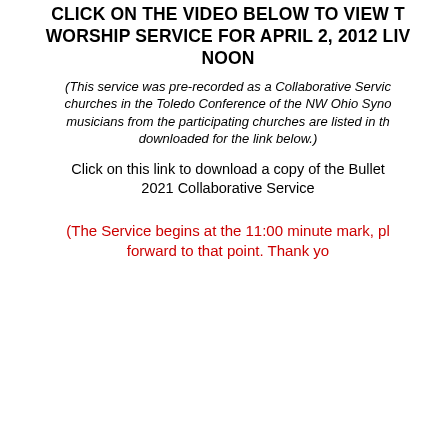CLICK ON THE VIDEO BELOW TO VIEW THE WORSHIP SERVICE FOR APRIL 2, 2012 LIVE AT NOON
(This service was pre-recorded as a Collaborative Service with churches in the Toledo Conference of the NW Ohio Synod. All musicians from the participating churches are listed in the Bulletin downloaded for the link below.)
Click on this link to download a copy of the Bulletin for the 2021 Collaborative Service
(The Service begins at the 11:00 minute mark, please fast forward to that point. Thank you)